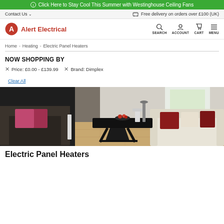Click Here to Stay Cool This Summer with Westinghouse Ceiling Fans
Contact Us   Free delivery on orders over £100 (UK)
[Figure (logo): Alert Electrical logo with red A icon and red text]
SEARCH  ACCOUNT  CART  MENU
Home › Heating › Electric Panel Heaters
NOW SHOPPING BY
× Price: £0.00 - £139.99   × Brand: Dimplex
Clear All
[Figure (photo): Interior living room scene with dark sofa on left, white sofa with red and white cushions on right, dark coffee table in middle on wooden floor]
Electric Panel Heaters